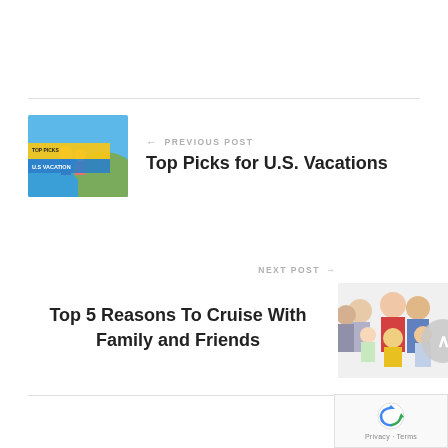[Figure (illustration): Thumbnail image for 'Top Picks for U.S. Vacations' blog post — couple/family at coastal overlook with blue sky, with a yellow banner overlay reading 'U.S VACATION' and 'TOP PICKS']
← PREVIOUS POST
Top Picks for U.S. Vacations
NEXT POST →
Top 5 Reasons To Cruise With Family and Friends
[Figure (photo): Family group photo with grandparents, parents, and children hugging and smiling, on white background]
[Figure (logo): reCAPTCHA badge with Google logo and 'Privacy · Terms' text]